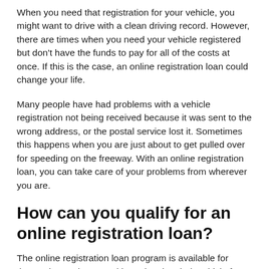When you need that registration for your vehicle, you might want to drive with a clean driving record. However, there are times when you need your vehicle registered but don't have the funds to pay for all of the costs at once. If this is the case, an online registration loan could change your life.
Many people have had problems with a vehicle registration not being received because it was sent to the wrong address, or the postal service lost it. Sometimes this happens when you are just about to get pulled over for speeding on the freeway. With an online registration loan, you can take care of your problems from wherever you are.
How can you qualify for an online registration loan?
The online registration loan program is available for those who are interested in registering their vehicle for the first